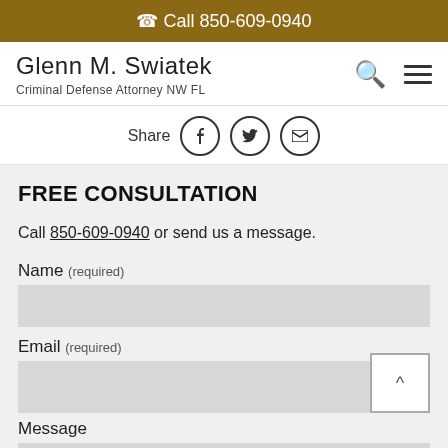Call 850-609-0940
Glenn M. Swiatek
Criminal Defense Attorney NW FL
Share
FREE CONSULTATION
Call 850-609-0940 or send us a message.
Name (required)
Email (required)
Message